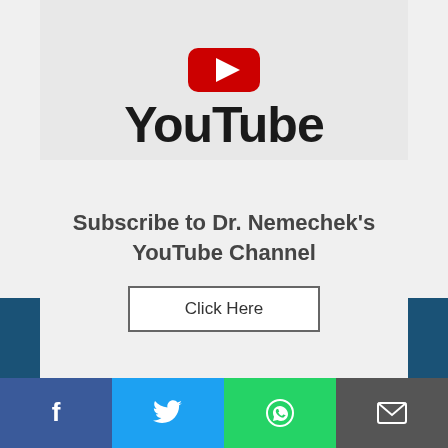[Figure (logo): YouTube logo with red play button icon and bold 'YouTube' text on light grey background]
Subscribe to Dr. Nemechek's YouTube Channel
Click Here
41
[Figure (infographic): Social media sharing bar with Facebook, Twitter, WhatsApp, and email icons]